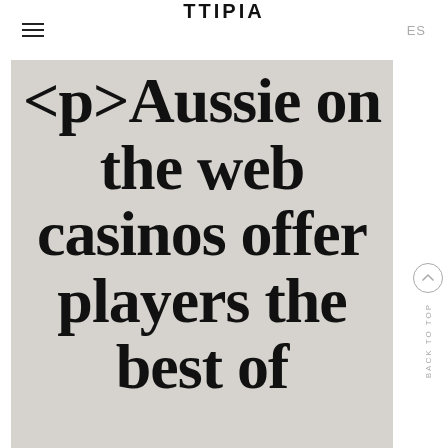TTiPiA | ES
<p>Aussie on the web casinos offer players the best of